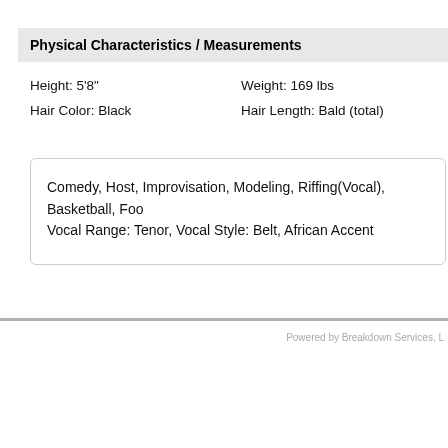Physical Characteristics / Measurements
Height: 5'8"
Weight: 169 lbs
Hair Color: Black
Hair Length: Bald (total)
Comedy, Host, Improvisation, Modeling, Riffing(Vocal), Basketball, Foo
Vocal Range: Tenor, Vocal Style: Belt, African Accent
Powered by Breakdown Services, L